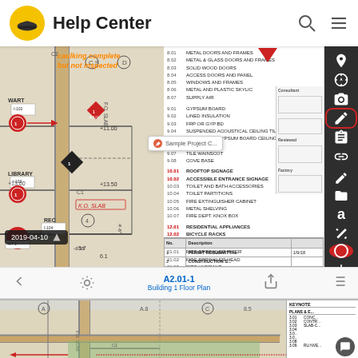Help Center
[Figure (screenshot): Engineering/architectural floor plan blueprint with keynote list, toolbar overlay, date stamp 2019-04-10, annotation reading 'caulking complete but not inspected' in orange italic text, and a sample project popup label. Bottom shows a second blueprint view with partial keynote panel.]
A2.01-1
Building 1 Floor Plan